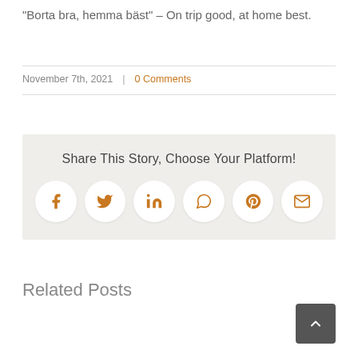“Borta bra, hemma bäst” – On trip good, at home best.
November 7th, 2021  |  0 Comments
[Figure (infographic): Share This Story, Choose Your Platform! social sharing box with icons for Facebook, Twitter, LinkedIn, WhatsApp, Pinterest, and Email]
Related Posts